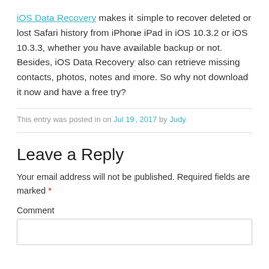iOS Data Recovery makes it simple to recover deleted or lost Safari history from iPhone iPad in iOS 10.3.2 or iOS 10.3.3, whether you have available backup or not. Besides, iOS Data Recovery also can retrieve missing contacts, photos, notes and more. So why not download it now and have a free try?
This entry was posted in on Jul 19, 2017 by Judy.
Leave a Reply
Your email address will not be published. Required fields are marked *
Comment